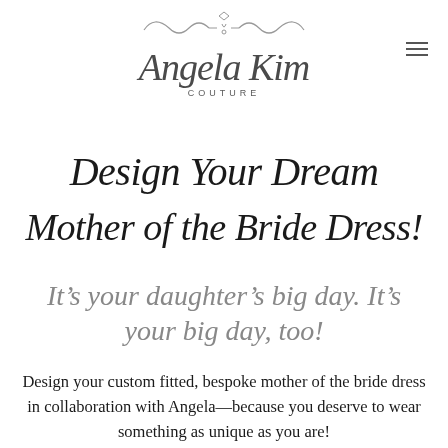[Figure (logo): Angela Kim Couture logo with decorative ornamental flourish above the script name and 'COUTURE' text below]
Design Your Dream Mother of the Bride Dress!
It's your daughter's big day. It's your big day, too!
Design your custom fitted, bespoke mother of the bride dress in collaboration with Angela—because you deserve to wear something as unique as you are!